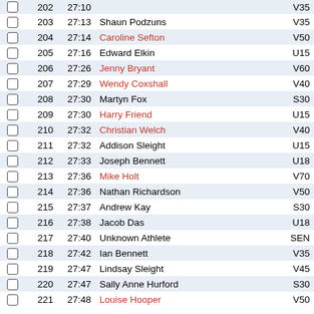|  | No | Time | Name | Cat |
| --- | --- | --- | --- | --- |
|  | 203 | 27:13 | Shaun Podzuns | V35 |
|  | 204 | 27:14 | Caroline Sefton | V50 |
|  | 205 | 27:16 | Edward Elkin | U15 |
|  | 206 | 27:26 | Jenny Bryant | V60 |
|  | 207 | 27:29 | Wendy Coxshall | V40 |
|  | 208 | 27:30 | Martyn Fox | S30 |
|  | 209 | 27:30 | Harry Friend | U15 |
|  | 210 | 27:32 | Christian Welch | V40 |
|  | 211 | 27:32 | Addison Sleight | U15 |
|  | 212 | 27:33 | Joseph Bennett | U18 |
|  | 213 | 27:36 | Mike Holt | V70 |
|  | 214 | 27:36 | Nathan Richardson | V50 |
|  | 215 | 27:37 | Andrew Kay | S30 |
|  | 216 | 27:38 | Jacob Das | U18 |
|  | 217 | 27:40 | Unknown Athlete | SEN |
|  | 218 | 27:42 | Ian Bennett | V35 |
|  | 219 | 27:47 | Lindsay Sleight | V45 |
|  | 220 | 27:47 | Sally Anne Hurford | S30 |
|  | 221 | 27:48 | Louise Hooper | V50 |